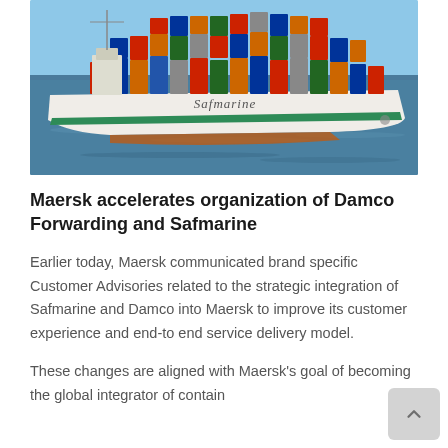[Figure (photo): A large Safmarine container ship loaded with colorful shipping containers, sailing on calm blue water. The ship's hull is white with a green stripe, and the word 'Safmarine' is written in stylized script on the side.]
Maersk accelerates organization of Damco Forwarding and Safmarine
Earlier today, Maersk communicated brand specific Customer Advisories related to the strategic integration of Safmarine and Damco into Maersk to improve its customer experience and end-to end service delivery model.
These changes are aligned with Maersk's goal of becoming the global integrator of container...